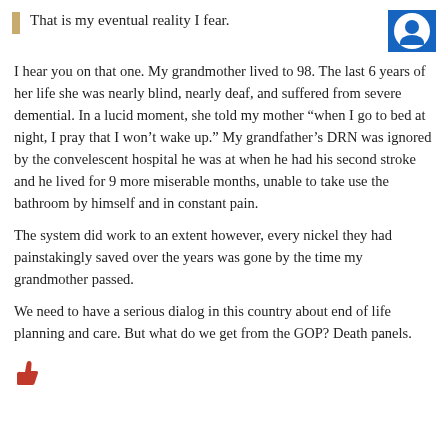That is my eventual reality I fear.
I hear you on that one. My grandmother lived to 98. The last 6 years of her life she was nearly blind, nearly deaf, and suffered from severe demential. In a lucid moment, she told my mother “when I go to bed at night, I pray that I won’t wake up.” My grandfather’s DRN was ignored by the convelescent hospital he was at when he had his second stroke and he lived for 9 more miserable months, unable to take use the bathroom by himself and in constant pain.
The system did work to an extent however, every nickel they had painstakingly saved over the years was gone by the time my grandmother passed.
We need to have a serious dialog in this country about end of life planning and care. But what do we get from the GOP? Death panels.
[Figure (illustration): Red thumbs up icon]